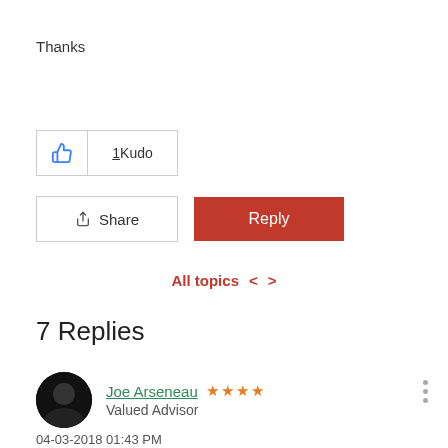Thanks
[Figure (other): Thumbs up kudo button showing 1 Kudo]
[Figure (other): Share button and Reply button]
All topics < >
7 Replies
[Figure (other): User avatar - dark circular profile photo]
Joe Arseneau ★★★★ Valued Advisor
04-03-2018 01:43 PM